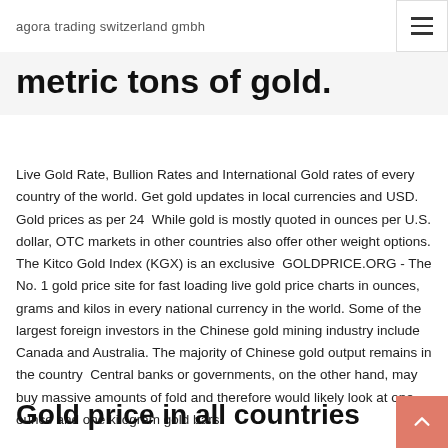agora trading switzerland gmbh
metric tons of gold.
Live Gold Rate, Bullion Rates and International Gold rates of every country of the world. Get gold updates in local currencies and USD. Gold prices as per 24 While gold is mostly quoted in ounces per U.S. dollar, OTC markets in other countries also offer other weight options. The Kitco Gold Index (KGX) is an exclusive  GOLDPRICE.ORG - The No. 1 gold price site for fast loading live gold price charts in ounces, grams and kilos in every national currency in the world. Some of the largest foreign investors in the Chinese gold mining industry include Canada and Australia. The majority of Chinese gold output remains in the country  Central banks or governments, on the other hand, may buy massive amounts of fold and therefore would likely look at one ounce and one kilogram gold bars.
Gold price in all countries